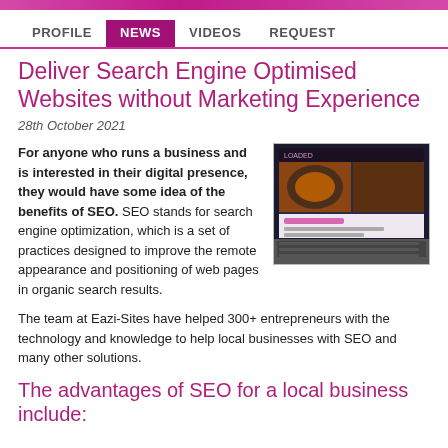PROFILE  NEWS  VIDEOS  REQUEST
Deliver Search Engine Optimised Websites without Marketing Experience
28th October 2021
For anyone who runs a business and is interested in their digital presence, they would have some idea of the benefits of SEO. SEO stands for search engine optimization, which is a set of practices designed to improve the remote appearance and positioning of web pages in organic search results.
[Figure (photo): Laptop screen showing a food/restaurant website with images of food and a navigation bar, keyboard visible at bottom]
The team at Eazi-Sites have helped 300+ entrepreneurs with the technology and knowledge to help local businesses with SEO and many other solutions.
The advantages of SEO for a local business include: